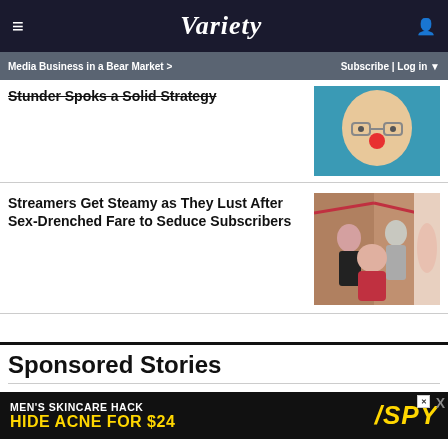VARIETY — Media Business in a Bear Market > | Subscribe | Log in
Stander Spells a Solid Strategy
[Figure (photo): Photo of man with red clown nose on teal background]
Streamers Get Steamy as They Lust After Sex-Drenched Fare to Seduce Subscribers
[Figure (photo): Photo of people in a social setting with decorative background]
Sponsored Stories
[Figure (infographic): Ad banner: MEN'S SKINCARE HACK HIDE ACNE FOR $24 with SPY logo]